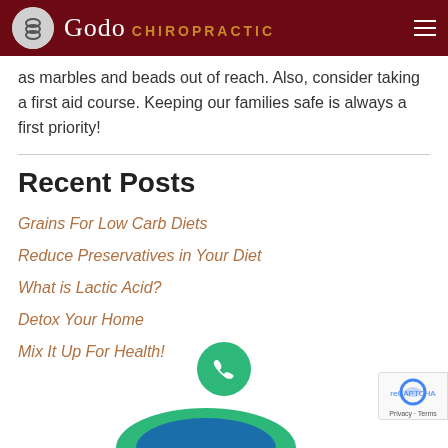Godo Chiropractic
as marbles and beads out of reach. Also, consider taking a first aid course. Keeping our families safe is always a first priority!
Recent Posts
Grains For Low Carb Diets
Reduce Preservatives in Your Diet
What is Lactic Acid?
Detox Your Home
Mix It Up For Health!